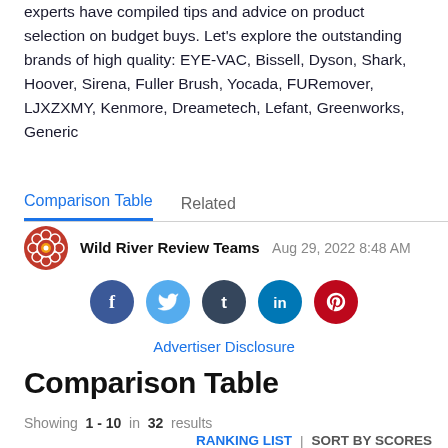experts have compiled tips and advice on product selection on budget buys. Let's explore the outstanding brands of high quality: EYE-VAC, Bissell, Dyson, Shark, Hoover, Sirena, Fuller Brush, Yocada, FURemover, LJXZXMY, Kenmore, Dreametech, Lefant, Greenworks, Generic
Comparison Table | Related
Wild River Review Teams  Aug 29, 2022 8:48 AM
Advertiser Disclosure
Comparison Table
Showing 1 - 10 in 32 results
RANKING LIST | SORT BY SCORES